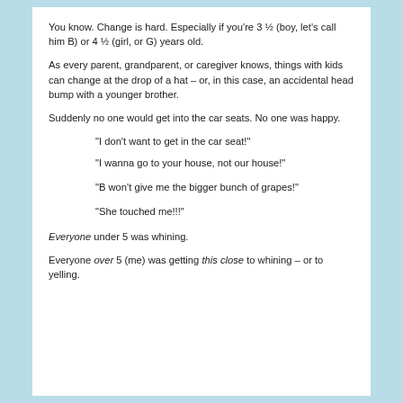You know. Change is hard. Especially if you're 3 ½ (boy, let's call him B) or 4 ½ (girl, or G) years old.
As every parent, grandparent, or caregiver knows, things with kids can change at the drop of a hat – or, in this case, an accidental head bump with a younger brother.
Suddenly no one would get into the car seats. No one was happy.
“I don’t want to get in the car seat!”
“I wanna go to your house, not our house!”
“B won’t give me the bigger bunch of grapes!”
“She touched me!!!”
Everyone under 5 was whining.
Everyone over 5 (me) was getting this close to whining – or to yelling.